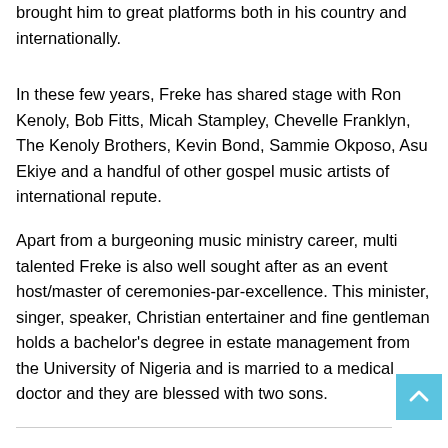brought him to great platforms both in his country and internationally.
In these few years, Freke has shared stage with Ron Kenoly, Bob Fitts, Micah Stampley, Chevelle Franklyn, The Kenoly Brothers, Kevin Bond, Sammie Okposo, Asu Ekiye and a handful of other gospel music artists of international repute.
Apart from a burgeoning music ministry career, multi talented Freke is also well sought after as an event host/master of ceremonies-par-excellence. This minister, singer, speaker, Christian entertainer and fine gentleman holds a bachelor's degree in estate management from the University of Nigeria and is married to a medical doctor and they are blessed with two sons.